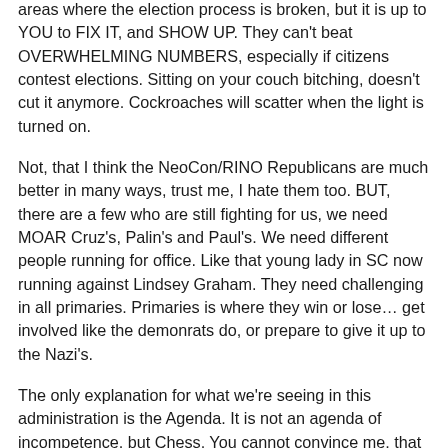areas where the election process is broken, but it is up to YOU to FIX IT, and SHOW UP. They can't beat OVERWHELMING NUMBERS, especially if citizens contest elections. Sitting on your couch bitching, doesn't cut it anymore. Cockroaches will scatter when the light is turned on.
Not, that I think the NeoCon/RINO Republicans are much better in many ways, trust me, I hate them too. BUT, there are a few who are still fighting for us, we need MOAR Cruz's, Palin's and Paul's. We need different people running for office. Like that young lady in SC now running against Lindsey Graham. They need challenging in all primaries. Primaries is where they win or lose… get involved like the demonrats do, or prepare to give it up to the Nazi's.
The only explanation for what we're seeing in this administration is the Agenda. It is not an agenda of incompetence, but Chess. You cannot convince me, that Harvard gratuated suits, are this stupid. The only thing left, is deliberate and traitorous perfidy, with the